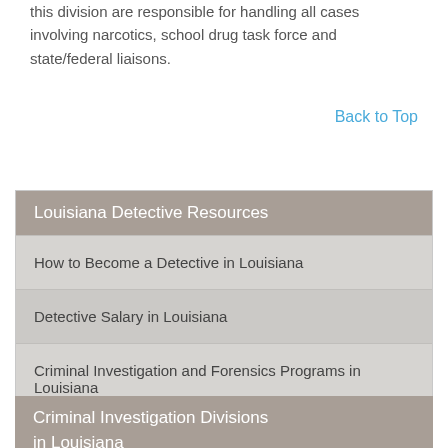this division are responsible for handling all cases involving narcotics, school drug task force and state/federal liaisons.
Back to Top
| Louisiana Detective Resources |
| --- |
| How to Become a Detective in Louisiana |
| Detective Salary in Louisiana |
| Criminal Investigation and Forensics Programs in Louisiana |
Criminal Investigation Divisions in Louisiana